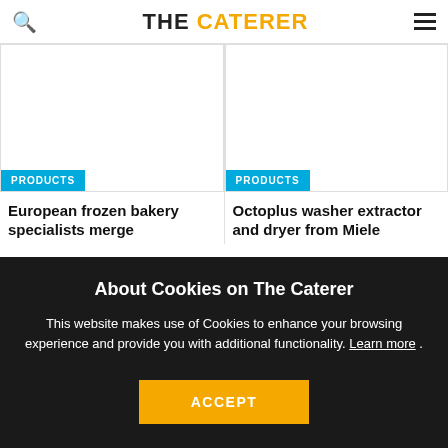THE CATERER
[Figure (photo): Article card image area with PRODUCTS badge - European frozen bakery specialists merge]
European frozen bakery specialists merge
[Figure (photo): Article card image area with PRODUCTS badge - Octoplus washer extractor and dryer from Miele]
Octoplus washer extractor and dryer from Miele
About Cookies on The Caterer
This website makes use of Cookies to enhance your browsing experience and provide you with additional functionality. Learn more .
ACCEPT